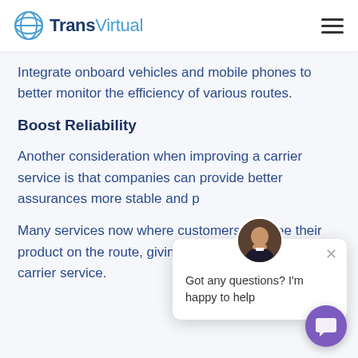TransVirtual
Integrate onboard vehicles and mobile phones to better monitor the efficiency of various routes.
Boost Reliability
Another consideration when improving a carrier service is that companies can provide better assurances more stable and p[redictable delivery...]
Many services now [offer tracking] where customers can see their product on the route, giving them a sense of trust in the carrier service.